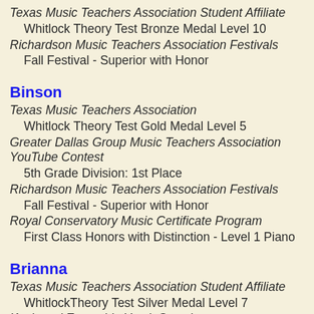Texas Music Teachers Association Student Affiliate
Whitlock Theory Test Bronze Medal Level 10
Richardson Music Teachers Association Festivals
Fall Festival - Superior with Honor
Binson
Texas Music Teachers Association
Whitlock Theory Test Gold Medal Level 5
Greater Dallas Group Music Teachers Association YouTube Contest
5th Grade Division: 1st Place
Richardson Music Teachers Association Festivals
Fall Festival - Superior with Honor
Royal Conservatory Music Certificate Program
First Class Honors with Distinction - Level 1 Piano
Brianna
Texas Music Teachers Association Student Affiliate
WhitlockTheory Test Silver Medal Level 7
Keyboard Ensemble Youth Symphony
3rd Year Participation Trophy
Richardson Music Teachers Association Festivals